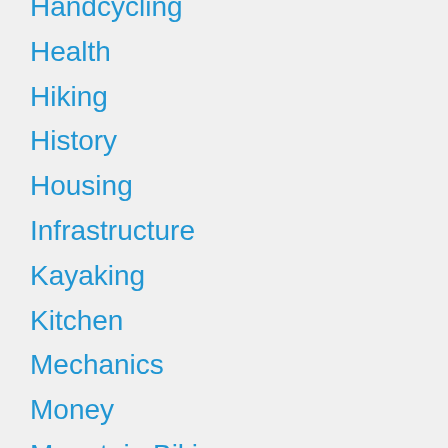Handcycling
Health
Hiking
History
Housing
Infrastructure
Kayaking
Kitchen
Mechanics
Money
Mountain Biking
Mountains
Movie Commentary
Music